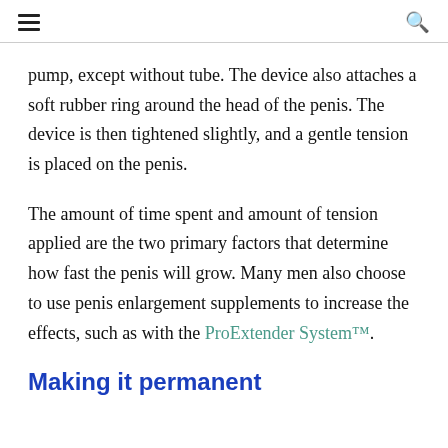[hamburger menu] [search icon]
pump, except without tube. The device also attaches a soft rubber ring around the head of the penis. The device is then tightened slightly, and a gentle tension is placed on the penis.
The amount of time spent and amount of tension applied are the two primary factors that determine how fast the penis will grow. Many men also choose to use penis enlargement supplements to increase the effects, such as with the ProExtender System™.
Making it permanent